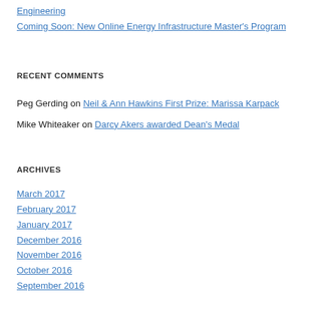Engineering
Coming Soon: New Online Energy Infrastructure Master's Program
RECENT COMMENTS
Peg Gerding on Neil & Ann Hawkins First Prize: Marissa Karpack
Mike Whiteaker on Darcy Akers awarded Dean's Medal
ARCHIVES
March 2017
February 2017
January 2017
December 2016
November 2016
October 2016
September 2016